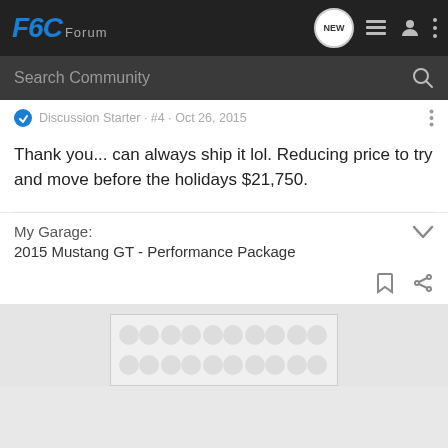F6C Forum — navigation bar with NEW, list, profile, and more icons
Search Community
Discussion Starter · #4 · Oct 26, 2015
Thank you... can always ship it lol. Reducing price to try and move before the holidays $21,750.
My Garage:
2015 Mustang GT - Performance Package
[Figure (other): Advertisement placeholder with decorative dot/circle pattern]